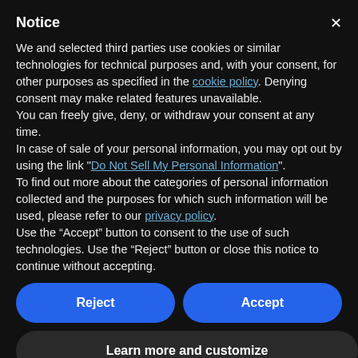Notice
We and selected third parties use cookies or similar technologies for technical purposes and, with your consent, for other purposes as specified in the cookie policy. Denying consent may make related features unavailable.
You can freely give, deny, or withdraw your consent at any time.
In case of sale of your personal information, you may opt out by using the link "Do Not Sell My Personal Information".
To find out more about the categories of personal information collected and the purposes for which such information will be used, please refer to our privacy policy.
Use the "Accept" button to consent to the use of such technologies. Use the "Reject" button or close this notice to continue without accepting.
Reject
Accept
Learn more and customize